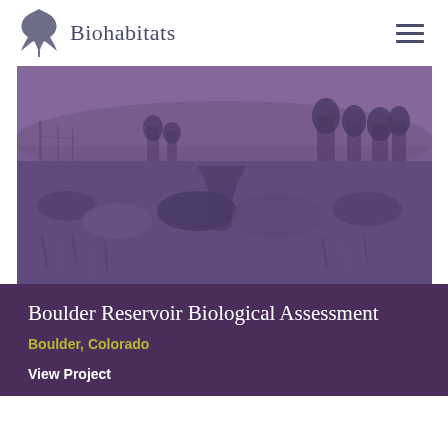Biohabitats
[Figure (photo): Aerial/landscape photograph of a meadow with grasses and wetland vegetation in the foreground, trees in the background, with a purple/violet color tint overlay. Telephone poles visible on the left side.]
Boulder Reservoir Biological Assessment
Boulder, Colorado
View Project